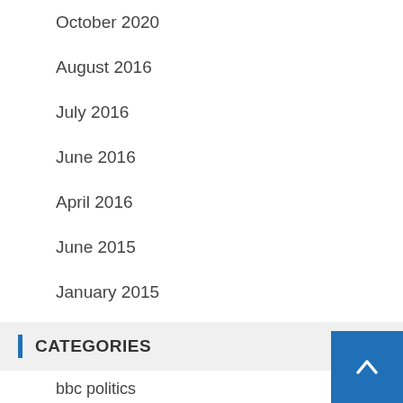October 2020
August 2016
July 2016
June 2016
April 2016
June 2015
January 2015
January 2014
CATEGORIES
bbc politics
best business news app